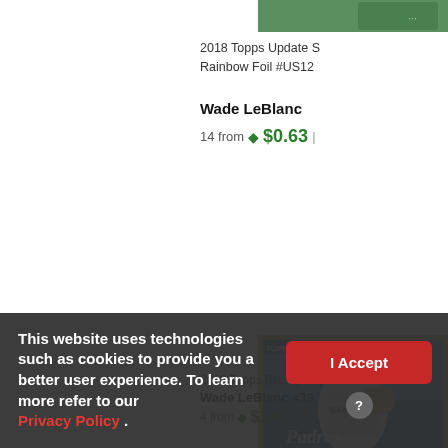[Figure (photo): Top right: partial baseball card image, green/teal tones]
2018 Topps Update S Rainbow Foil #US12
Wade LeBlanc
14 from $0.63
[Figure (photo): Baseball card showing pitcher in San Diego Padres uniform with gold border, Topps card]
2018 Topps [Base] Wade LeBlanc #39
Wade LeBlanc
4 from $1.0
This website uses technologies such as cookies to provide you a better user experience. To learn more refer to our Privacy Policy .
I Accept